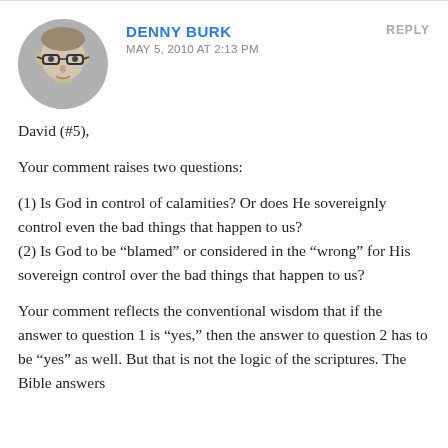[Figure (photo): Circular avatar photo of a man with glasses, short light hair, wearing a gray shirt, against a light background.]
DENNY BURK
MAY 5, 2010 AT 2:13 PM
REPLY
David (#5),
Your comment raises two questions:
(1) Is God in control of calamities? Or does He sovereignly control even the bad things that happen to us?
(2) Is God to be “blamed” or considered in the “wrong” for His sovereign control over the bad things that happen to us?
Your comment reflects the conventional wisdom that if the answer to question 1 is “yes,” then the answer to question 2 has to be “yes” as well. But that is not the logic of the scriptures. The Bible answers